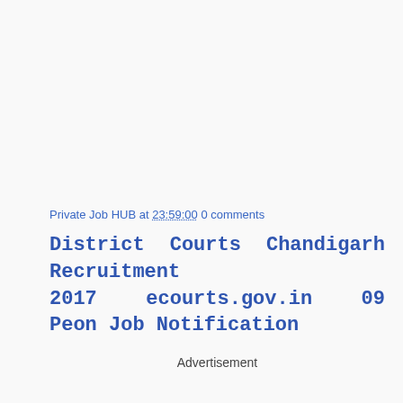Private Job HUB at 23:59:00 0 comments
District Courts Chandigarh Recruitment 2017 ecourts.gov.in 09 Peon Job Notification
Advertisement